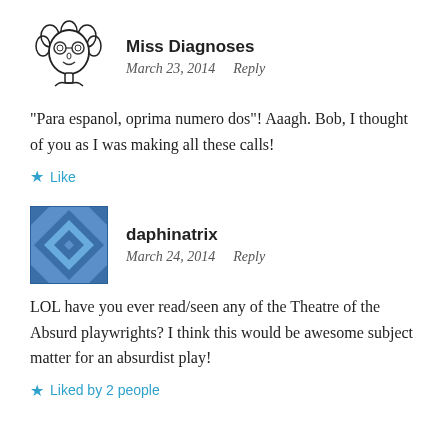[Figure (illustration): Avatar illustration of Miss Diagnoses: cartoon face with curly hair and glasses]
Miss Diagnoses
March 23, 2014   Reply
“Para espanol, oprima numero dos”! Aaagh. Bob, I thought of you as I was making all these calls!
★ Like
[Figure (illustration): Avatar image of daphinatrix: blue geometric/quilt pattern square avatar]
daphinatrix
March 24, 2014   Reply
LOL have you ever read/seen any of the Theatre of the Absurd playwrights? I think this would be awesome subject matter for an absurdist play!
★ Liked by 2 people